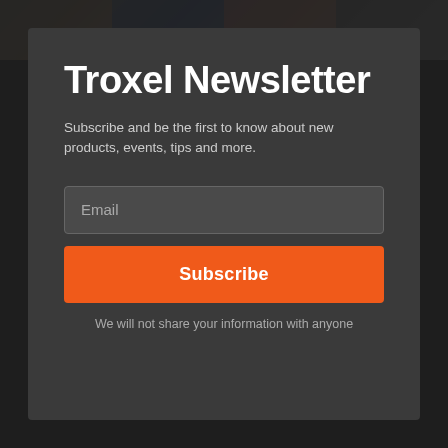[Figure (photo): Photo strip at top with four colored/blurred photo blocks showing people]
Troxel Newsletter
Subscribe and be the first to know about new products, events, tips and more.
Email
Subscribe
We will not share your information with anyone